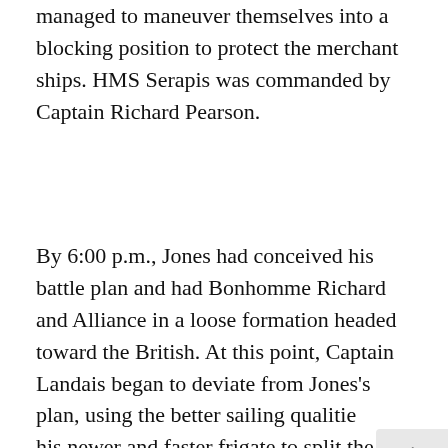managed to maneuver themselves into a blocking position to protect the merchant ships. HMS Serapis was commanded by Captain Richard Pearson.
By 6:00 p.m., Jones had conceived his battle plan and had Bonhomme Richard and Alliance in a loose formation headed toward the British. At this point, Captain Landais began to deviate from Jones's plan, using the better sailing qualities of his newer and faster frigate to split the two British ships. This left Bonhomme Richard and the other smaller American ships to fight the larger and more dangerous Serapis, while Alliance was matched against the much smaller Countess of Scarborough. After an initial query from the British, the Americans...